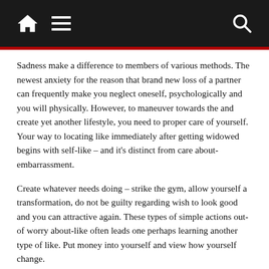Navigation bar with home, menu, and search icons
Sadness make a difference to members of various methods. The newest anxiety for the reason that brand new loss of a partner can frequently make you neglect oneself, psychologically and you will physically. However, to maneuver towards the and create yet another lifestyle, you need to proper care of yourself. Your way to locating like immediately after getting widowed begins with self-like – and it's distinct from care about-embarrassment.
Create whatever needs doing – strike the gym, allow yourself a transformation, do not be guilty regarding wish to look good and you can attractive again. These types of simple actions out-of worry about-like often leads one perhaps learning another type of like. Put money into yourself and view how yourself change.
Not totally all matchmaking end up https://datingreviewer.net/cs/baptist-seznamka/ in fairy stories. It can be likely that your first relationship once getting widowed may end up into the frustration. He may not be the fresh soul mate you were looking pursuing the loss of their spouse. But let not discourage you from providing romance several other opportunity. Address it while the a transition that you need to repair of the pain of history while having able